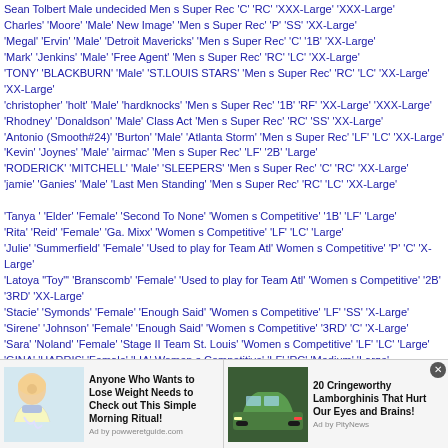Sean Tolbert Male undecided Men s Super Rec C RC XXX-Large XXX-Large
Charles Moore Male New Image Men s Super Rec P SS XX-Large
Megal Ervin Male Detroit Mavericks Men s Super Rec C 1B XX-Large
Mark Jenkins Male Free Agent Men s Super Rec RC LC XX-Large
TONY BLACKBURN Male ST.LOUIS STARS Men s Super Rec RC LC XX-Large XX-Large
christopher holt Male hardknocks Men s Super Rec 1B RF XX-Large XXX-Large
Rhodney Donaldson Male Class Act Men s Super Rec RC SS XX-Large
Antonio (Smooth#24) Burton Male Atlanta Storm Men s Super Rec LF LC XX-Large
Kevin Joynes Male airmac Men s Super Rec LF 2B Large
RODERICK MITCHELL Male SLEEPERS Men s Super Rec C RC XX-Large
jamie Ganies Male Last Men Standing Men s Super Rec RC LC XX-Large
Tanya Elder Female Second To None Women s Competitive 1B LF Large
Rita Reid Female Ga. Mixx Women s Competitive LF LC Large
Julie Summerfield Female Used to play for Team Atl Women s Competitive P C X-Large
Latoya "Toy" Branscomb Female Used to play for Team Atl Women s Competitive 2B 3RD XX-Large
Stacie Symonds Female Enough Said Women s Competitive LF SS X-Large
Sirene Johnson Female Enough Said Women s Competitive 3RD C X-Large
Sara Noland Female Stage II Team St. Louis Women s Competitive LF LC Large
GINA HARRIS Female LIA Women s Competitive LF RC Medium Large
Nikia Bynum Female Lady Phillies Women s Competitive LC LF Large
Deanna Miller Female Lady Cobras Women s Competitive LC 1B X-Large
Samantha Ivery Female ??? Women s Competitive RC P X-Large
TONJA RUSSELL Female enoughsaid Women s Competitive RF RC X-Large
[Figure (other): Two advertisement banners: left ad shows woman drinking water with text 'Anyone Who Wants to Lose Weight Needs to Check out This Simple Morning Ritual!' from powderiteguide.com; right ad shows green Lamborghini car with text '20 Cringeworthy Lamborghinis That Hurt Our Eyes and Brains!' from PityNews.]